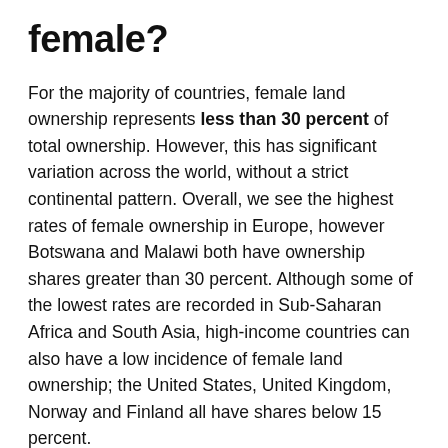female?
For the majority of countries, female land ownership represents less than 30 percent of total ownership. However, this has significant variation across the world, without a strict continental pattern. Overall, we see the highest rates of female ownership in Europe, however Botswana and Malawi both have ownership shares greater than 30 percent. Although some of the lowest rates are recorded in Sub-Saharan Africa and South Asia, high-income countries can also have a low incidence of female land ownership; the United States, United Kingdom, Norway and Finland all have shares below 15 percent.